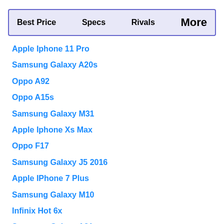Best Price   Specs   Rivals   More
Apple Iphone 11 Pro
Samsung Galaxy A20s
Oppo A92
Oppo A15s
Samsung Galaxy M31
Apple Iphone Xs Max
Oppo F17
Samsung Galaxy J5 2016
Apple IPhone 7 Plus
Samsung Galaxy M10
Infinix Hot 6x
Samsung Galaxy A21